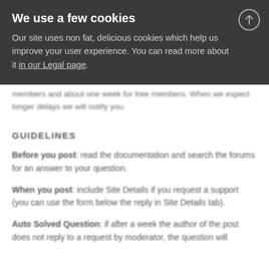We use a few cookies
Our site uses non fat, delicious cookies which help us improve your user experience. You can read more about it in our Legal page.
members and about one week for free members. When we expect longer delays we will notify you.
GUIDELINES
Before you post: read the documentation and search the forums for an answer to your question.
When you post: include Site Details if you request a support (you can use the form below the reply in Site Details tab).
Auto Solved Question: if after a week the author of the post does not reply to a request by moderator, the question will